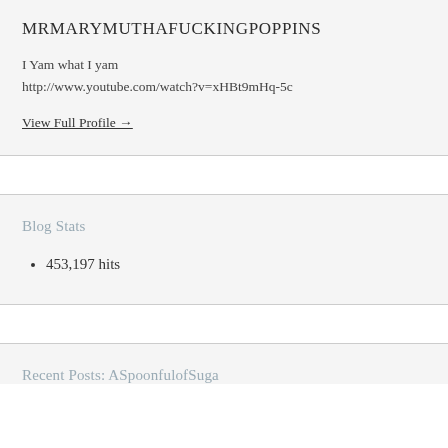MRMARYMUTHAFUCKINGPOPPINS
I Yam what I yam
http://www.youtube.com/watch?v=xHBt9mHq-5c
View Full Profile →
Blog Stats
453,197 hits
Recent Posts: ASpoonfulofSuga